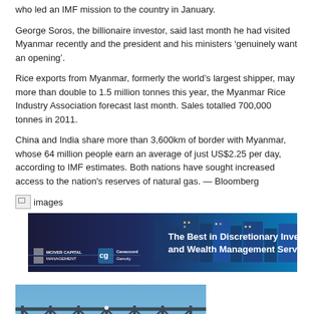who led an IMF mission to the country in January.
George Soros, the billionaire investor, said last month he had visited Myanmar recently and the president and his ministers ‘genuinely want an opening’.
Rice exports from Myanmar, formerly the world’s largest shipper, may more than double to 1.5 million tonnes this year, the Myanmar Rice Industry Association forecast last month. Sales totalled 700,000 tonnes in 2011.
China and India share more than 3,600km of border with Myanmar, whose 64 million people earn an average of just US$2.25 per day, according to IMF estimates. Both nations have sought increased access to the nation's reserves of natural gas. — Bloomberg
[Figure (screenshot): Broken image icon followed by text 'images']
[Figure (photo): Advertisement banner for McIver Capital Management and Canaccord Genuity: 'The Best in Discretionary Investment and Wealth Management Services' with city skyline at night]
[Figure (photo): Partial photo of a steel bridge structure against a blue sky]